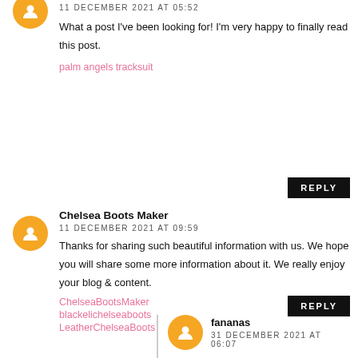11 DECEMBER 2021 AT 05:52
What a post I've been looking for! I'm very happy to finally read this post.
palm angels tracksuit
REPLY
Chelsea Boots Maker
11 DECEMBER 2021 AT 09:59
Thanks for sharing such beautiful information with us. We hope you will share some more information about it. We really enjoy your blog & content.
ChelseaBootsMaker
blackelichelseaboots
LeatherChelseaBoots
REPLY
fananas
31 DECEMBER 2021 AT 06:07